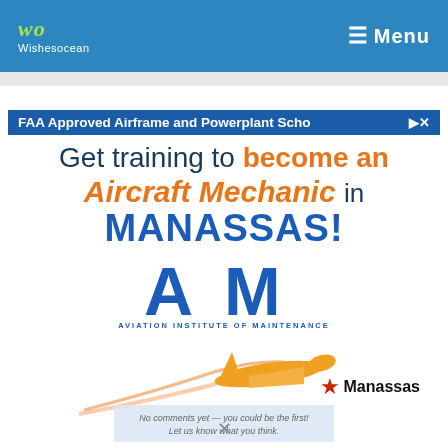Wishesocean | Menu
[Figure (logo): Aviation Institute of Maintenance advertisement: FAA Approved Airframe and Powerplant School. Get training to become an Aircraft Mechanic in MANASSAS! AIM logo with orange airplane graphic and Manassas location star badge.]
No comments yet — you could be the first! Let us know what you think.